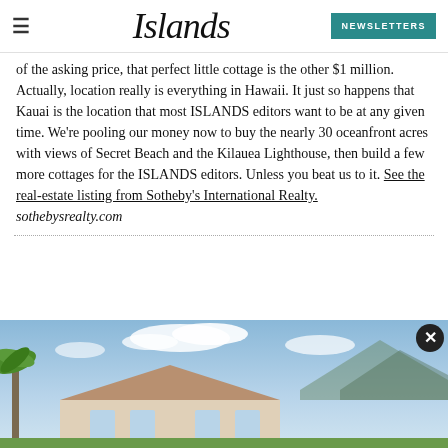Islands — NEWSLETTERS
of the asking price, that perfect little cottage is the other $1 million. Actually, location really is everything in Hawaii. It just so happens that Kauai is the location that most ISLANDS editors want to be at any given time. We're pooling our money now to buy the nearly 30 oceanfront acres with views of Secret Beach and the Kilauea Lighthouse, then build a few more cottages for the ISLANDS editors. Unless you beat us to it. See the real-estate listing from Sotheby's International Realty. sothebysrealty.com
[Figure (photo): Exterior photo of a house with blue sky and palm trees in Hawaii]